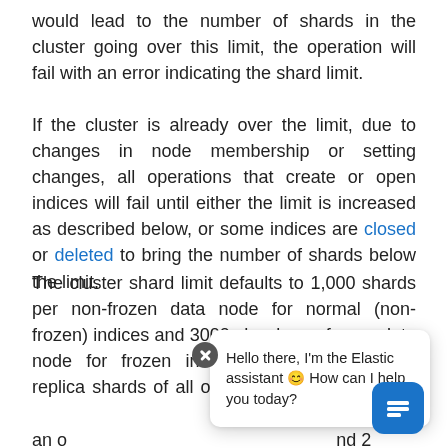would lead to the number of shards in the cluster going over this limit, the operation will fail with an error indicating the shard limit.
If the cluster is already over the limit, due to changes in node membership or setting changes, all operations that create or open indices will fail until either the limit is increased as described below, or some indices are closed or deleted to bring the number of shards below the limit.
The cluster shard limit defaults to 1,000 shards per non-frozen data node for normal (non-frozen) indices and 3000 shards per frozen data node for frozen indices. Both primary and replica shards of all open indices count toward the limit. For example, an index with 5 primary shards and 2 replicas counts as 15 shards. Closed indices do not contribute to